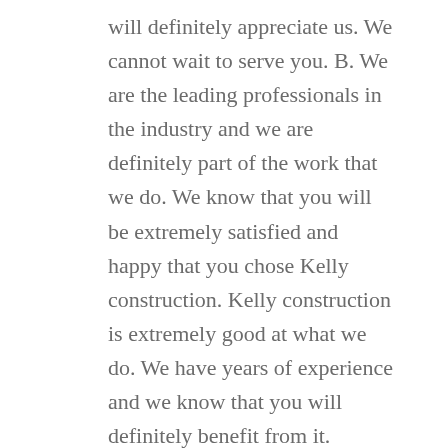will definitely appreciate us. We cannot wait to serve you. B. We are the leading professionals in the industry and we are definitely part of the work that we do. We know that you will be extremely satisfied and happy that you chose Kelly construction. Kelly construction is extremely good at what we do. We have years of experience and we know that you will definitely benefit from it.
If you are looking for an incredible team, think Kelly construction is the team for you. We are great and we have wonderful. Just take a look at our test and you will see just how excellent we are. You will incredibly encourage when you see all of the testimonies of our previous